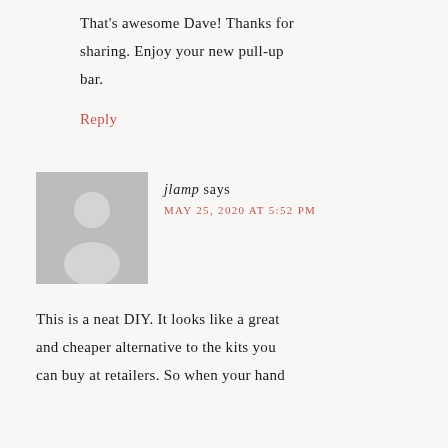That's awesome Dave! Thanks for sharing. Enjoy your new pull-up bar.
Reply
[Figure (illustration): Generic user avatar placeholder - grey silhouette of a person on grey background]
jlamp says
MAY 25, 2020 AT 5:52 PM
This is a neat DIY. It looks like a great and cheaper alternative to the kits you can buy at retailers. So when your hand